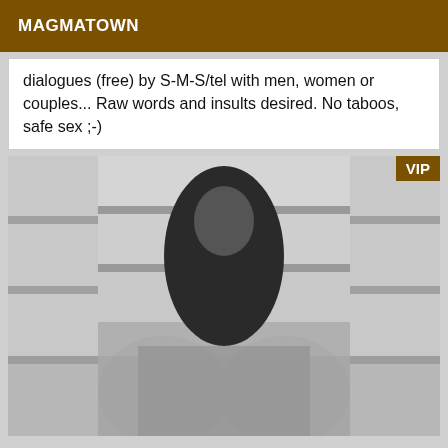MAGMATOWN
dialogues (free) by S-M-S/tel with men, women or couples... Raw words and insults desired. No taboos, safe sex ;-)
[Figure (photo): Black and white photo of a person lying back on stairs, wearing dark clothing, arms raised overhead, lower body blurred. A VIP badge is visible in the top-right corner of the image.]